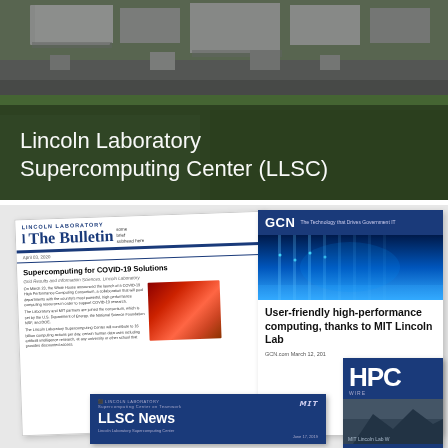[Figure (photo): Aerial photograph of the Lincoln Laboratory Supercomputing Center (LLSC) facility with buildings and grounds visible from above, overlaid with white text title]
Lincoln Laboratory Supercomputing Center (LLSC)
[Figure (photo): Collage of news articles and publications about LLSC including: Lincoln Laboratory Bulletin featuring 'Supercomputing for COVID-19 Solutions', LLSC News newsletter, GCN article titled 'User-friendly high-performance computing, thanks to MIT Lincoln Lab' from GCN.com March 12, 2019, and HPC Wire publication]